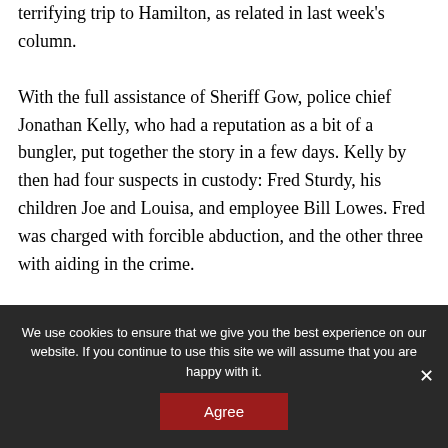terrifying trip to Hamilton, as related in last week's column.

With the full assistance of Sheriff Gow, police chief Jonathan Kelly, who had a reputation as a bit of a bungler, put together the story in a few days. Kelly by then had four suspects in custody: Fred Sturdy, his children Joe and Louisa, and employee Bill Lowes. Fred was charged with forcible abduction, and the other three with aiding in the crime.
We use cookies to ensure that we give you the best experience on our website. If you continue to use this site we will assume that you are happy with it.